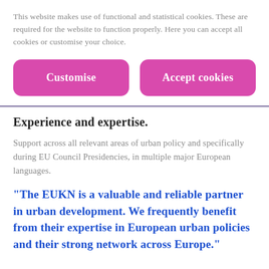This website makes use of functional and statistical cookies. These are required for the website to function properly. Here you can accept all cookies or customise your choice.
Customise
Accept cookies
Experience and expertise.
Support across all relevant areas of urban policy and specifically during EU Council Presidencies, in multiple major European languages.
“The EUKN is a valuable and reliable partner in urban development. We frequently benefit from their expertise in European urban policies and their strong network across Europe.”